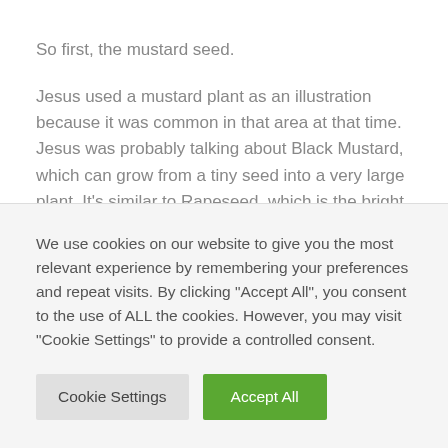So first, the mustard seed.
Jesus used a mustard plant as an illustration because it was common in that area at that time. Jesus was probably talking about Black Mustard, which can grow from a tiny seed into a very large plant. It's similar to Rapeseed, which is the bright yellow plant you've probably seen being farmed in this country. For us in this country, an illustration that we're more familiar with might be a huge oak tree
We use cookies on our website to give you the most relevant experience by remembering your preferences and repeat visits. By clicking "Accept All", you consent to the use of ALL the cookies. However, you may visit "Cookie Settings" to provide a controlled consent.
Cookie Settings | Accept All